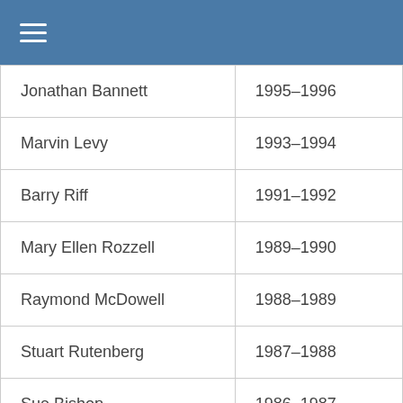| Jonathan Bannett | 1995–1996 |
| Marvin Levy | 1993–1994 |
| Barry Riff | 1991–1992 |
| Mary Ellen Rozzell | 1989–1990 |
| Raymond McDowell | 1988–1989 |
| Stuart Rutenberg | 1987–1988 |
| Sue Bishop | 1986–1987 |
| James Walls | 1985–1986 |